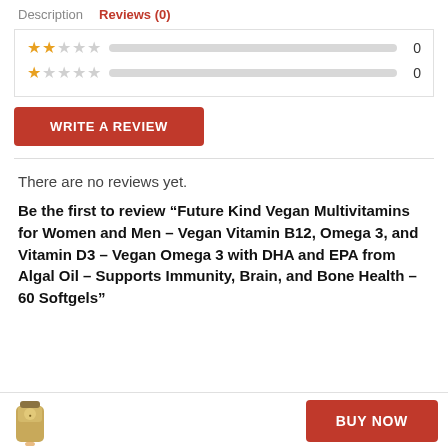Description   Reviews (0)
[Figure (other): Star rating rows: 2-star row with 0 count, 1-star row with 0 count, followed by a WRITE A REVIEW button]
There are no reviews yet.
Be the first to review “Future Kind Vegan Multivitamins for Women and Men – Vegan Vitamin B12, Omega 3, and Vitamin D3 – Vegan Omega 3 with DHA and EPA from Algal Oil – Supports Immunity, Brain, and Bone Health – 60 Softgels”
BUY NOW